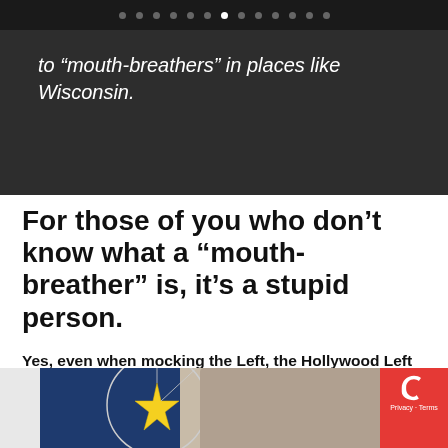navigation dots indicator
to “mouth-breathers” in places like Wisconsin.
For those of you who don’t know what a “mouth-breather” is, it’s a stupid person.
Yes, even when mocking the Left, the Hollywood Left get their shots in on Conservatives. But fear not, as in the end their skit is a compliment.
[Figure (photo): Partial photo of a man smiling against a dark blue and neutral background, with a circular graphic overlay and star shape on the left side. A reCAPTCHA badge is visible in the bottom right corner.]